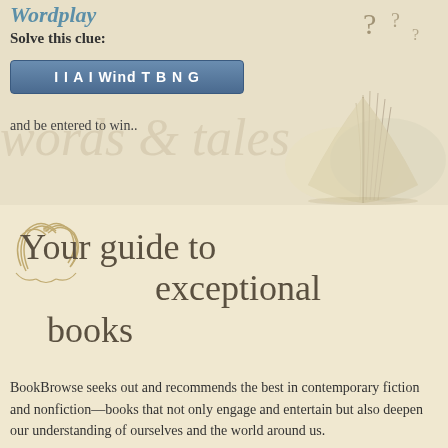Wordplay
Solve this clue:
I I A I Wind T B N G
and be entered to win..
[Figure (illustration): Open book with pages fanned, decorative question marks in top right corner, watermark text in background on cream/beige background]
Your guide to exceptional books
BookBrowse seeks out and recommends the best in contemporary fiction and nonfiction—books that not only engage and entertain but also deepen our understanding of ourselves and the world around us.